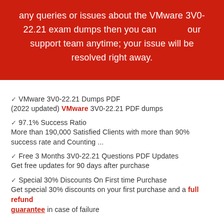any queries or issues about the VMware 3V0-22.21 exam dumps then you can our support team anytime; your issue will be resolved right away.
✓ VMware 3V0-22.21 Dumps PDF
(2022 updated) VMware 3V0-22.21 PDF dumps
✓ 97.1% Success Ratio
More than 190,000 Satisfied Clients with more than 90% success rate and Counting ...
✓ Free 3 Months 3V0-22.21 Questions PDF Updates
Get free updates for 90 days after purchase
✓ Special 30% Discounts On First time Purchase
Get special 30% discounts on your first purchase and a full refund guarantee in case of failure